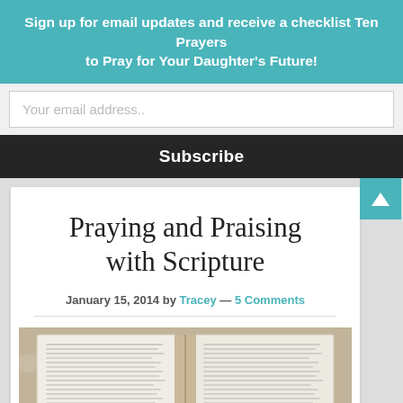Sign up for email updates and receive a checklist Ten Prayers to Pray for Your Daughter's Future!
Your email address..
Subscribe
Praying and Praising with Scripture
January 15, 2014 by Tracey — 5 Comments
[Figure (photo): Open Bible lying on a floral fabric surface, showing two pages of dense scripture text]